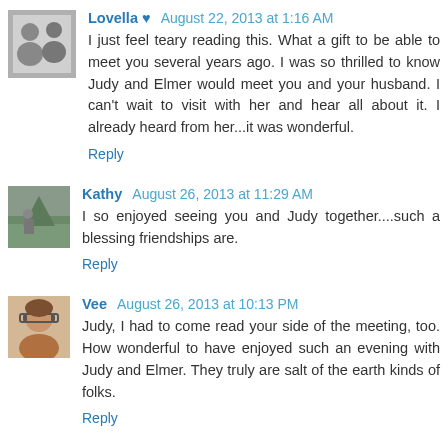Lovella ♥ August 22, 2013 at 1:16 AM
I just feel teary reading this. What a gift to be able to meet you several years ago. I was so thrilled to know Judy and Elmer would meet you and your husband. I can't wait to visit with her and hear all about it. I already heard from her...it was wonderful.
Reply
Kathy August 26, 2013 at 11:29 AM
I so enjoyed seeing you and Judy together....such a blessing friendships are.
Reply
Vee August 26, 2013 at 10:13 PM
Judy, I had to come read your side of the meeting, too. How wonderful to have enjoyed such an evening with Judy and Elmer. They truly are salt of the earth kinds of folks.
Reply